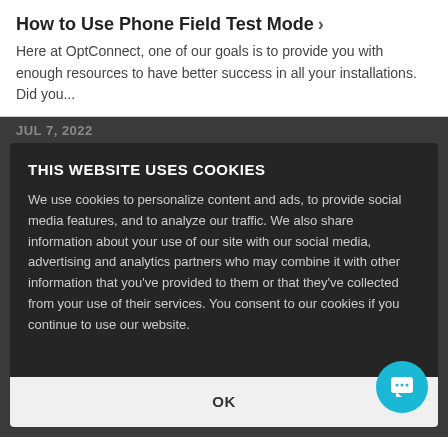How to Use Phone Field Test Mode ›
Here at OptConnect, one of our goals is to provide you with enough resources to have better success in all your installations. Did you...
JUL 7, 2022
THIS WEBSITE USES COOKIES
We use cookies to personalize content and ads, to provide social media features, and to analyze our traffic. We also share information about your use of our site with our social media, advertising and analytics partners who may combine it with other information that you've provided to them or that they've collected from your use of their services. You consent to our cookies if you continue to use our website.
OK
Tenacious Connectivity for Gaming